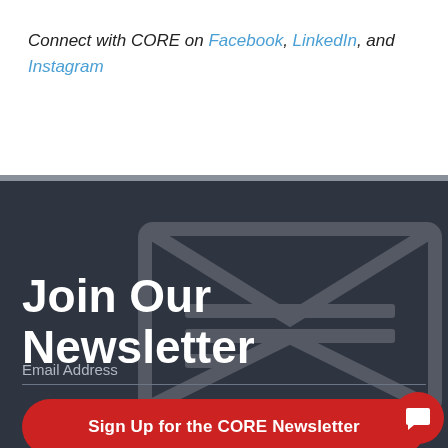Connect with CORE on Facebook, LinkedIn, and Instagram
Join Our Newsletter
Email Address
Sign Up for the CORE Newsletter